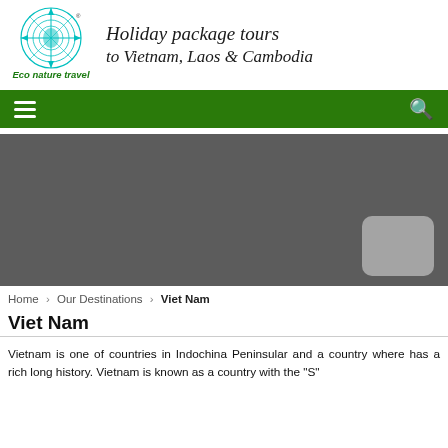[Figure (logo): Eco Nature Travel logo — circular globe with compass rose design in teal/green, with 'Eco nature travel' text in green below]
Holiday package tours to Vietnam, Laos & Cambodia
[Figure (other): Green navigation bar with hamburger menu icon on left and search icon on right]
[Figure (photo): Dark gray hero image placeholder with a lighter rounded rectangle overlay in bottom-right corner]
Home › Our Destinations › Viet Nam
Viet Nam
Vietnam is one of countries in Indochina Peninsular and a country where has a rich long history. Vietnam is known as a country with the "S"